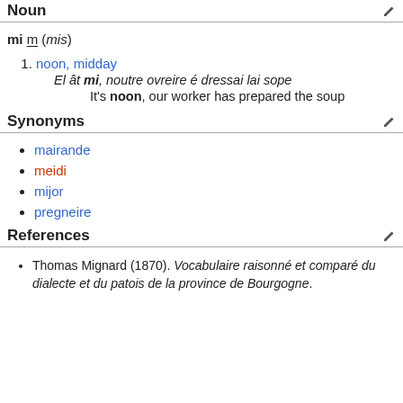Noun
mi m (mis)
noon, midday
El ât mi, noutre ovreire é dressai lai sope
It's noon, our worker has prepared the soup
Synonyms
mairande
meidi
mijor
pregneire
References
Thomas Mignard (1870). Vocabulaire raisonné et comparé du dialecte et du patois de la province de Bourgogne.